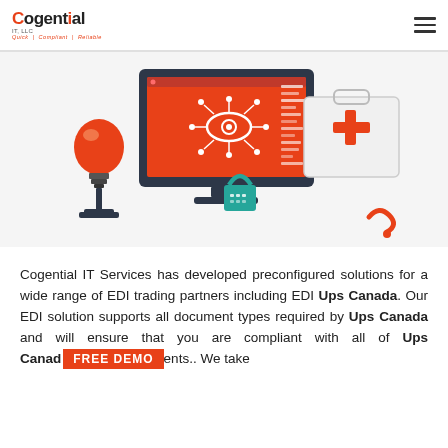Cogential IT, LLC | Quick | Compliant | Reliable
[Figure (illustration): Hero illustration showing a desktop monitor with an orange screen displaying a network/eye icon and code lines, a vintage light bulb on the left, a medical first-aid kit with a red cross on the right, a teal padlock in the center-bottom, and an orange worm icon at the bottom right.]
Cogential IT Services has developed preconfigured solutions for a wide range of EDI trading partners including EDI Ups Canada. Our EDI solution supports all document types required by Ups Canada and will ensure that you are compliant with all of Ups Canada requirements.. We take
FREE DEMO